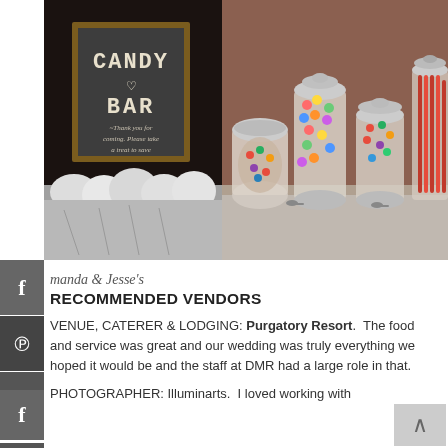[Figure (photo): Two wedding photos side by side: left shows a chalkboard 'Candy Bar' sign with fabric bags below; right shows colorful candy jars on a table]
Amanda & Jesse's
RECOMMENDED VENDORS
VENUE, CATERER & LODGING: Purgatory Resort.  The food and service was great and our wedding was truly everything we hoped it would be and the staff at DMR had a large role in that.
PHOTOGRAPHER: Illuminarts.  I loved working with them.  They were...